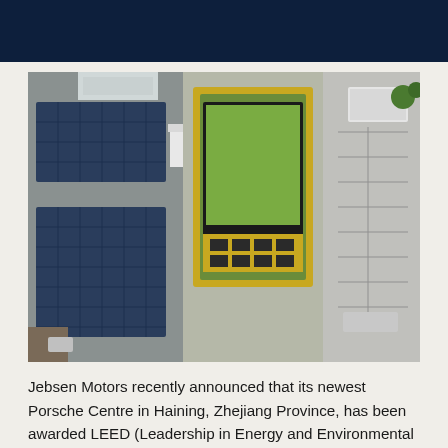[Figure (photo): Aerial/overhead view of a building complex showing solar panels on rooftops and a green roof garden with geometric yellow and green patterns, alongside a parking area with vehicles.]
Jebsen Motors recently announced that its newest Porsche Centre in Haining, Zhejiang Province, has been awarded LEED (Leadership in Energy and Environmental Design) Platinum certification. This makes it the world's first Porsche Centre to